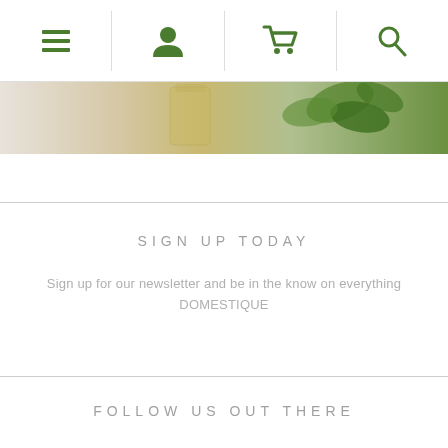Navigation bar with menu, user, cart, and search icons
[Figure (photo): Partial hero image showing a glass jar with golden liquid, green plants, and a white marble/tile background]
SIGN UP TODAY
Sign up for our newsletter and be in the know on everything DOMESTIQUE
FOLLOW US OUT THERE